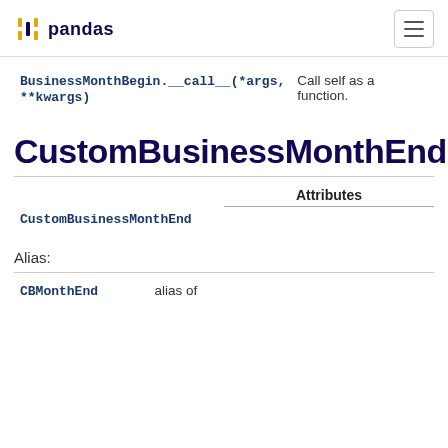pandas
| BusinessMonthBegin.__call__(*args, **kwargs) | Call self as a function. |
CustomBusinessMonthEnd
|  | Attributes |
| --- | --- |
| CustomBusinessMonthEnd |  |
Alias:
| CBMonthEnd | alias of |